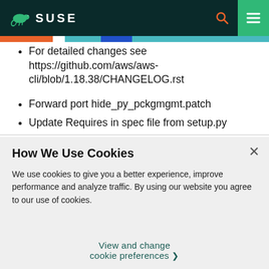SUSE
For detailed changes see https://github.com/aws/aws-cli/blob/1.18.38/CHANGELOG.rst
Forward port hide_py_pckgmgmt.patch
Update Requires in spec file from setup.py
How We Use Cookies
We use cookies to give you a better experience, improve performance and analyze traffic. By using our website you agree to our use of cookies.
View and change cookie preferences >